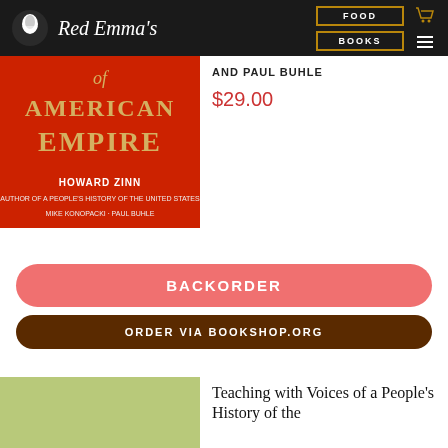Red Emma's | FOOD | BOOKS
[Figure (photo): Book cover: A People's History of American Empire by Howard Zinn, Mike Konopacki, and Paul Buhle. Red background with large stylized text.]
AND PAUL BUHLE
$29.00
BACKORDER
ORDER VIA BOOKSHOP.ORG
[Figure (photo): Book cover with light green background — Teaching with Voices of a People's History of the...]
Teaching with Voices of a People's History of the